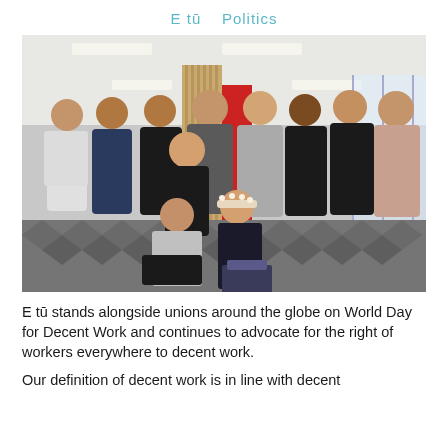E tū   Politics
[Figure (photo): Group photo of approximately 14 people of Pasifika/Māori descent posing together inside a modern office with grey diamond-patterned carpet, glass walls, and fluorescent lighting. Two people are seated on the floor in front, one wearing a floral headband. The group appears to be affiliated with the E tū union.]
E tū stands alongside unions around the globe on World Day for Decent Work and continues to advocate for the right of workers everywhere to decent work.
Our definition of decent work is in line with decent...